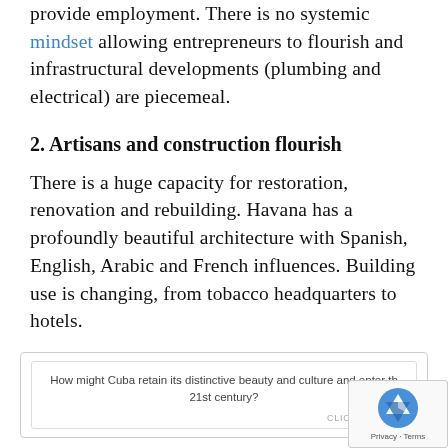provide employment. There is no systemic mindset allowing entrepreneurs to flourish and infrastructural developments (plumbing and electrical) are piecemeal.
2. Artisans and construction flourish
There is a huge capacity for restoration, renovation and rebuilding. Havana has a profoundly beautiful architecture with Spanish, English, Arabic and French influences. Building use is changing, from tobacco headquarters to hotels.
How might Cuba retain its distinctive beauty and culture and enter the 21st century? CLICK TO TWEET